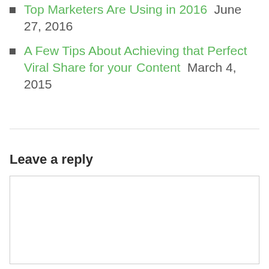Top Marketers Are Using in 2016  June 27, 2016
A Few Tips About Achieving that Perfect Viral Share for your Content  March 4, 2015
Leave a reply